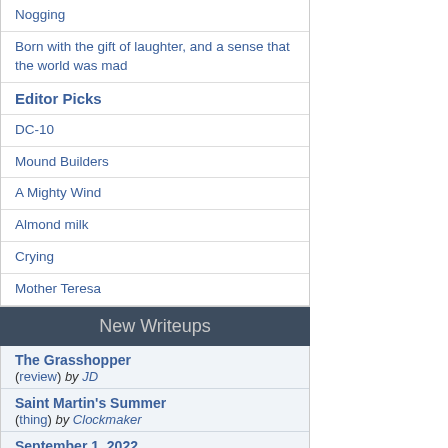Nogging
Born with the gift of laughter, and a sense that the world was mad
Editor Picks
DC-10
Mound Builders
A Mighty Wind
Almond milk
Crying
Mother Teresa
New Writeups
The Grasshopper
(review) by JD
Saint Martin's Summer
(thing) by Clockmaker
September 1, 2022
(personal) by wertperch
Mystic crystal revelation, and the mind's true liberation
(fiction) by wertperch
Black Molly
(thing) by losthuskie
still
(poetry) by lostcauser
not like the shoe and not like the ring but just like the heart